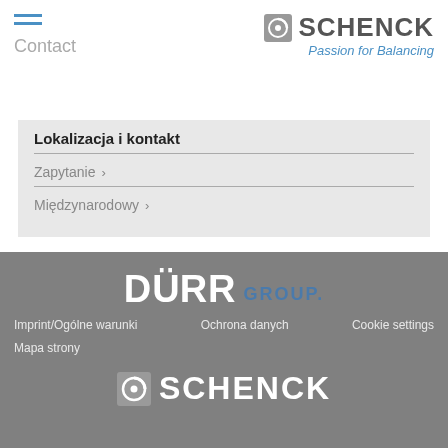Contact
[Figure (logo): Schenck logo with Passion for Balancing tagline]
Lokalizacja i kontakt
Zapytanie >
Międzynarodowy >
[Figure (logo): Dürr Group logo]
Cookie settings   Imprint/Ogólne warunki   Ochrona danych   Mapa strony
[Figure (logo): Schenck logo white on grey footer]